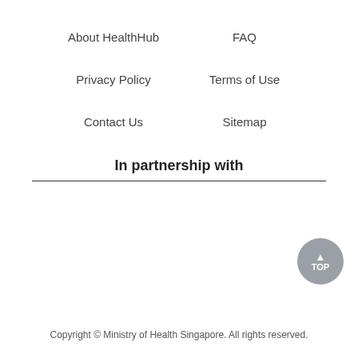About HealthHub
FAQ
Privacy Policy
Terms of Use
Contact Us
Sitemap
In partnership with
Copyright © Ministry of Health Singapore. All rights reserved.